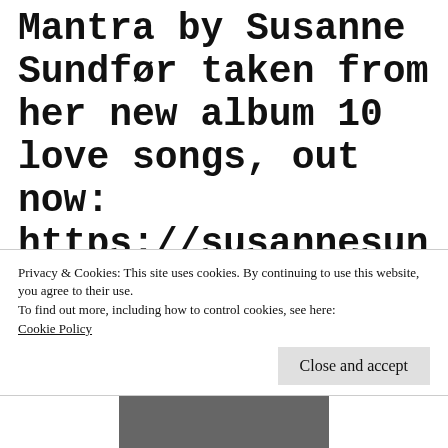Mantra by Susanne Sundfør taken from her new album 10 love songs, out now: https://susannesundfor.lnk.to/mfpitYo
Mantra by Susanne Sundfør taken from her new album 10 love songs, out now:
Privacy & Cookies: This site uses cookies. By continuing to use this website, you agree to their use.
To find out more, including how to control cookies, see here:
Cookie Policy
[Figure (photo): Partial black and white photo at the bottom of the page]